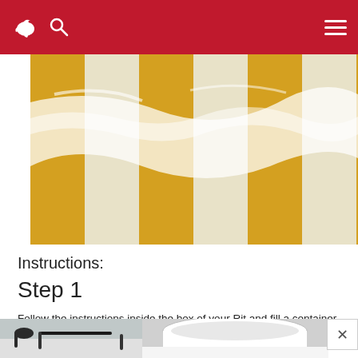[Figure (photo): Close-up photo of yellow and white striped fabric with wrinkles]
Instructions:
Step 1
Follow the instructions inside the box of your Rit and fill a container full of hot water. Add your powdered dye (proportions of water to dye depending upon how much you need will be given on the inside of the box) I eyeballed the amount of water and added the entire contents of the box.
[Figure (photo): Two bottom photos showing containers and utensils for dyeing process]